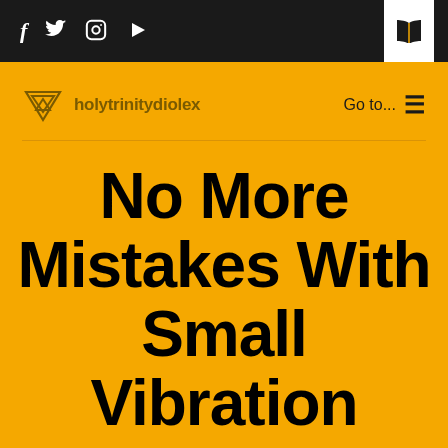f  🐦  📷  ▶  [book icon]
[Figure (logo): Holytrinitydiolex logo with triangular geometric emblem and site name]
Go to...  ≡
No More Mistakes With Small Vibration